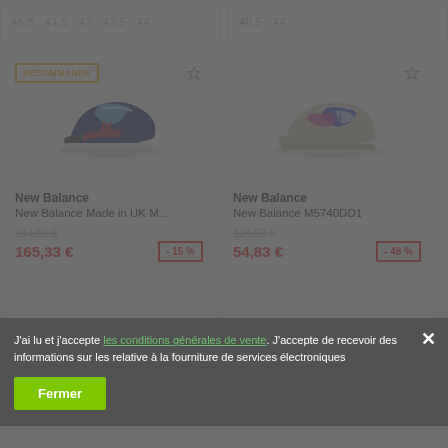45,5  41,5  42  42,5  44
40,5  44
[Figure (photo): New Balance sneaker - dark blue/red colorway with light blue accent]
RECOMMANDÉ
New Balance
New Balance Made in UK M...
194,50 €
165,33 €  - 15 %
[Figure (photo): New Balance sneaker - beige/grey with blue and pink accents]
New Balance
New Balance M5740DD1
104,50 €
54,83 €  - 48 %
J'ai lu et j'accepte les conditions générales de vente. J'accepte de recevoir des informations sur les relative à la fourniture de services électroniques
Fermer